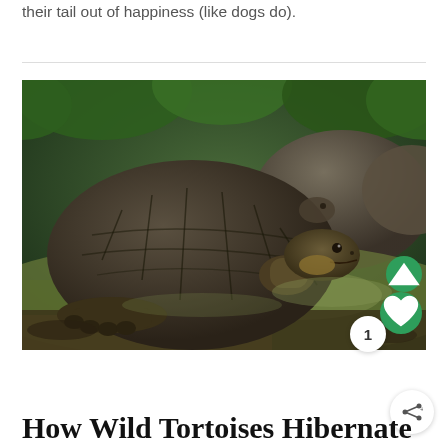their tail out of happiness (like dogs do).
[Figure (photo): A large Galápagos tortoise resting in muddy water, looking upward, with other tortoises visible in the background among green foliage.]
How Wild Tortoises Hibernate